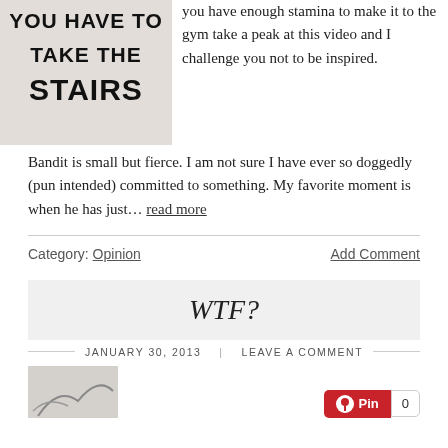[Figure (photo): Sign with bold text reading 'YOU HAVE TO TAKE THE STAIRS' on a light textured background]
you have enough stamina to make it to the gym take a peak at this video and I challenge you not to be inspired.
Bandit is small but fierce. I am not sure I have ever so doggedly (pun intended) committed to something. My favorite moment is when he has just… read more
Category: Opinion
Add Comment
WTF?
JANUARY 30, 2013 | LEAVE A COMMENT
[Figure (photo): Partial image at bottom left, dark sketch or illustration]
Pin 0